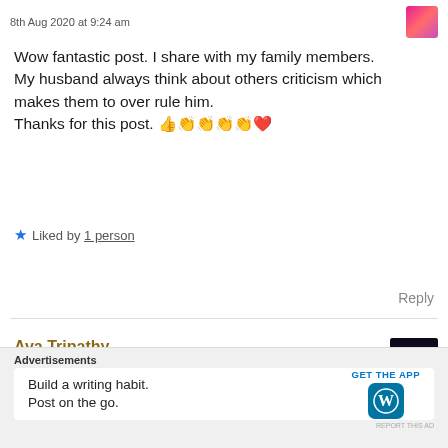8th Aug 2020 at 9:24 am
Wow fantastic post. I share with my family members. My husband always think about others criticism which makes them to over rule him.
Thanks for this post. 👍👏👏👏👏🤍
★ Liked by 1 person
Reply
Ava Tripathy
8th Aug 2020 at 9:28 am
Advertisements
Build a writing habit. Post on the go.
GET THE APP